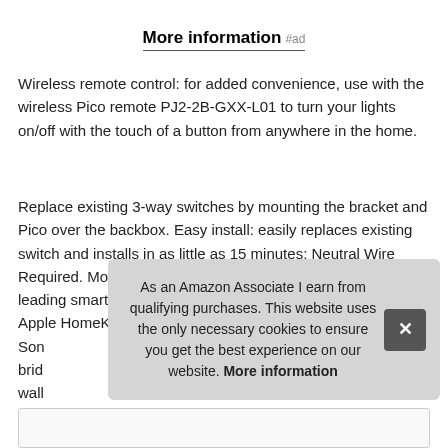More information #ad
Wireless remote control: for added convenience, use with the wireless Pico remote PJ2-2B-GXX-L01 to turn your lights on/off with the touch of a button from anywhere in the home.
Replace existing 3-way switches by mounting the bracket and Pico over the backbox. Easy install: easily replaces existing switch and installs in as little as 15 minutes; Neutral Wire Required. Most connected: caseta connects with more leading smart home devices – including Amazon Alexa, Ring, Apple HomeKit, the Google Assistant, Serena shades and Son... brid... wall...
As an Amazon Associate I earn from qualifying purchases. This website uses the only necessary cookies to ensure you get the best experience on our website. More information